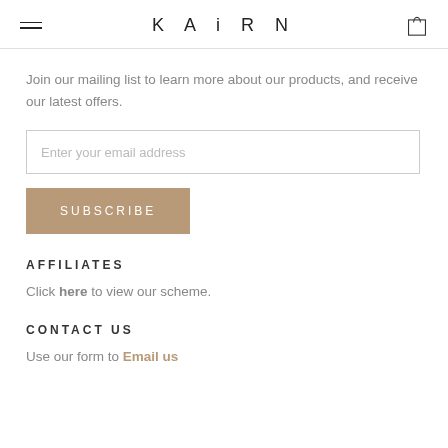KAIRN
Join our mailing list to learn more about our products, and receive our latest offers.
Enter your email address
SUBSCRIBE
AFFILIATES
Click here to view our scheme.
CONTACT US
Use our form to Email us